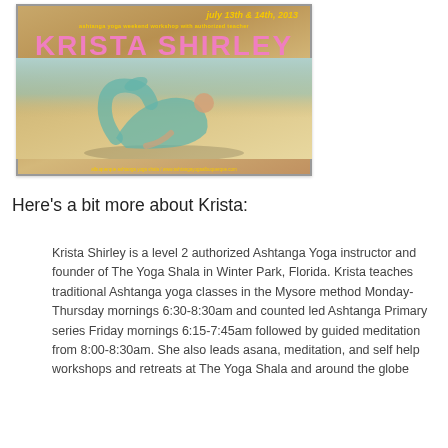[Figure (illustration): Event poster for Ashtanga Yoga Weekend Workshop with authorized teacher Krista Shirley on July 13th & 14th, 2013. Features large pink letters spelling KRISTA SHIRLEY over a yoga pose photo. Footer shows Albuquerque Ashtanga Yoga Shala / www.ashtangayogaalbuquerque.com]
Here's a bit more about Krista:
Krista Shirley is a level 2 authorized Ashtanga Yoga instructor and founder of The Yoga Shala in Winter Park, Florida. Krista teaches traditional Ashtanga yoga classes in the Mysore method Monday-Thursday mornings 6:30-8:30am and counted led Ashtanga Primary series Friday mornings 6:15-7:45am followed by guided meditation from 8:00-8:30am. She also leads asana, meditation, and self help workshops and retreats at The Yoga Shala and around the globe